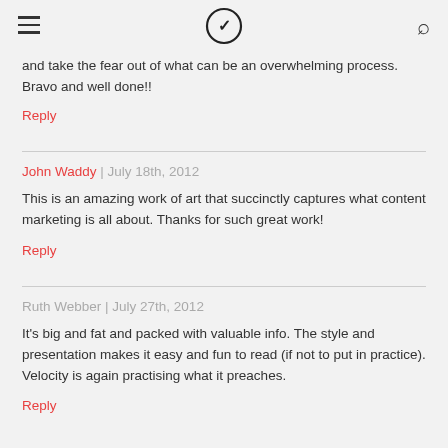Velocity logo, hamburger menu, search icon
and take the fear out of what can be an overwhelming process. Bravo and well done!!
Reply
John Waddy | July 18th, 2012
This is an amazing work of art that succinctly captures what content marketing is all about. Thanks for such great work!
Reply
Ruth Webber | July 27th, 2012
It's big and fat and packed with valuable info. The style and presentation makes it easy and fun to read (if not to put in practice). Velocity is again practising what it preaches.
Reply